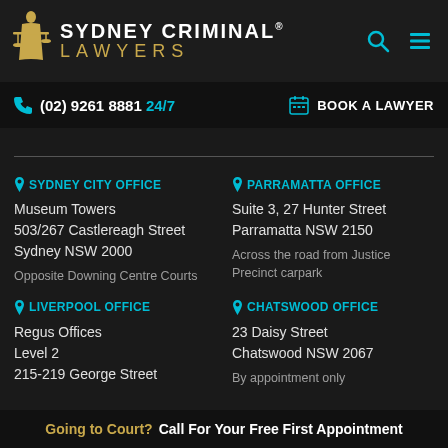SYDNEY CRIMINAL® LAWYERS
(02) 9261 8881 24/7  BOOK A LAWYER
SYDNEY CITY OFFICE
Museum Towers
503/267 Castlereagh Street
Sydney NSW 2000

Opposite Downing Centre Courts
PARRAMATTA OFFICE
Suite 3, 27 Hunter Street
Parramatta NSW 2150

Across the road from Justice Precinct carpark
LIVERPOOL OFFICE
Regus Offices
Level 2
215-219 George Street
CHATSWOOD OFFICE
23 Daisy Street
Chatswood NSW 2067
Going to Court? Call For Your Free First Appointment